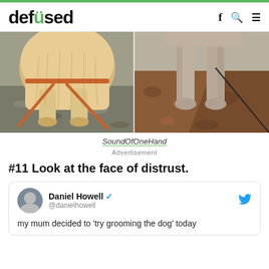defused
[Figure (photo): Two side-by-side photos showing dog legs/paws on gravel. Left photo shows a fluffy light-colored dog with an orange harness/leash on grey gravel. Right photo shows a smooth short-haired dog's legs on reddish-brown rocky gravel.]
SoundOfOneHand
Advertisement
#11 Look at the face of distrust.
Daniel Howell @danielhowell
my mum decided to 'try grooming the dog' today